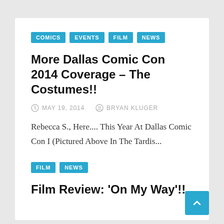COMICS  EVENTS  FILM  NEWS
More Dallas Comic Con 2014 Coverage – The Costumes!!
MAY 19, 2014   BRYAN KLUGER
Rebecca S., Here.... This Year At Dallas Comic Con I (Pictured Above In The Tardis...
FILM  NEWS
Film Review: 'On My Way'!!